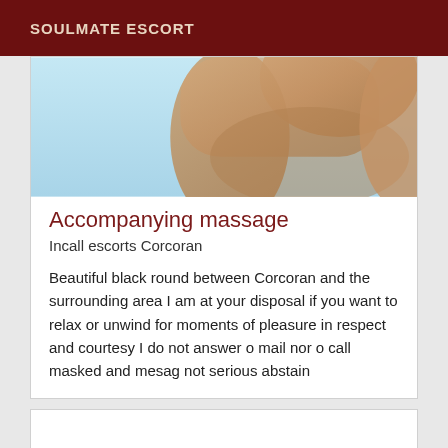SOULMATE ESCORT
[Figure (photo): Close-up photo of a person's torso and arm against a light blue/sky background, skin tones visible]
Accompanying massage
Incall escorts Corcoran
Beautiful black round between Corcoran and the surrounding area I am at your disposal if you want to relax or unwind for moments of pleasure in respect and courtesy I do not answer o mail nor o call masked and mesag not serious abstain